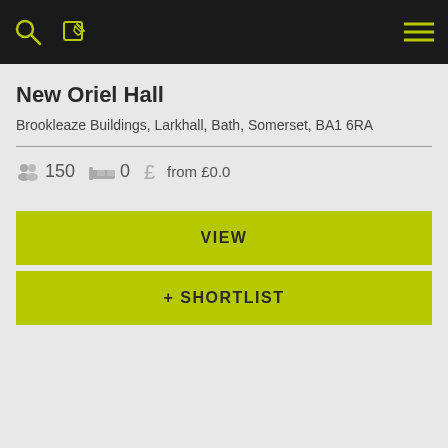Navigation bar with search, edit, and menu icons
New Oriel Hall
Brookleaze Buildings, Larkhall, Bath, Somerset, BA1 6RA
150 guests  0 rooms  from £0.0
VIEW
+ SHORTLIST